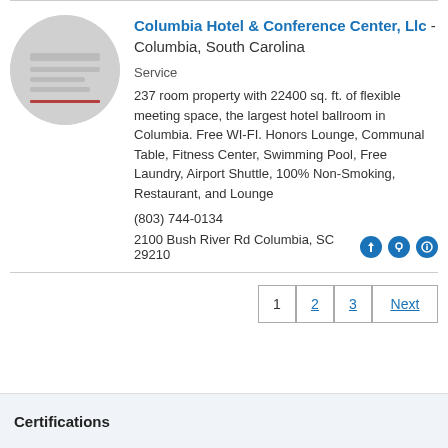Columbia Hotel & Conference Center, Llc - Columbia, South Carolina
Service
237 room property with 22400 sq. ft. of flexible meeting space, the largest hotel ballroom in Columbia. Free WI-FI. Honors Lounge, Communal Table, Fitness Center, Swimming Pool, Free Laundry, Airport Shuttle, 100% Non-Smoking, Restaurant, and Lounge
(803) 744-0134
2100 Bush River Rd Columbia, SC 29210
1 2 3 Next
Certifications